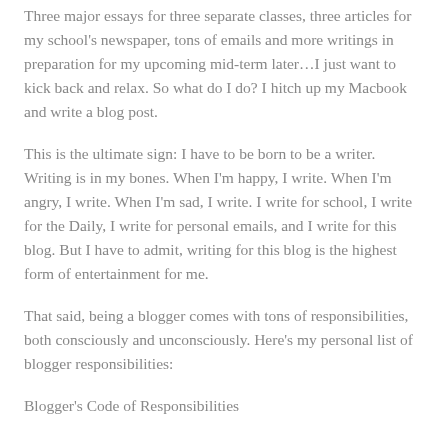Three major essays for three separate classes, three articles for my school's newspaper, tons of emails and more writings in preparation for my upcoming mid-term later…I just want to kick back and relax. So what do I do? I hitch up my Macbook and write a blog post.
This is the ultimate sign: I have to be born to be a writer. Writing is in my bones. When I'm happy, I write. When I'm angry, I write. When I'm sad, I write. I write for school, I write for the Daily, I write for personal emails, and I write for this blog. But I have to admit, writing for this blog is the highest form of entertainment for me.
That said, being a blogger comes with tons of responsibilities, both consciously and unconsciously. Here's my personal list of blogger responsibilities:
Blogger's Code of Responsibilities